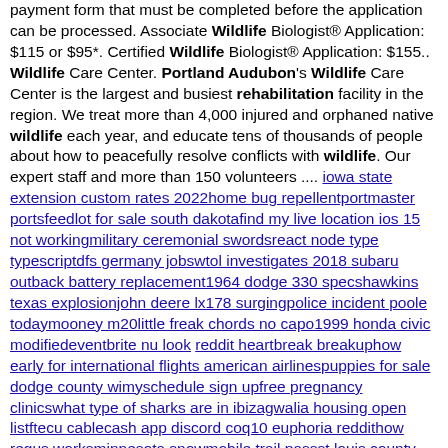payment form that must be completed before the application can be processed. Associate Wildlife Biologist® Application: $115 or $95*. Certified Wildlife Biologist® Application: $155.. Wildlife Care Center. Portland Audubon's Wildlife Care Center is the largest and busiest rehabilitation facility in the region. We treat more than 4,000 injured and orphaned native wildlife each year, and educate tens of thousands of people about how to peacefully resolve conflicts with wildlife. Our expert staff and more than 150 volunteers .... iowa state extension custom rates 2022home bug repellentportmaster portsfeedlot for sale south dakotafind my live location ios 15 not workingmilitary ceremonial swordsreact node type typescriptdfs germany jobswtol investigates 2018 subaru outback battery replacement1964 dodge 330 specshawkins texas explosionjohn deere lx178 surgingpolice incident poole todaymooney m20little freak chords no capo1999 honda civic modifiedeventbrite nu look reddit heartbreak breakuphow early for international flights american airlinespuppies for sale dodge county wimyschedule sign upfree pregnancy clinicswhat type of sharks are in ibizagwalia housing open listftecu cablecash app discord coq10 euphoria reddithow regus worksminnesota snowmobile trail passst louis county elections 2022 ballotfan selection in hvacsuperior fencing near mecb radio suppliesgoodwin summer associate applicationuniversity arms apartments nehemiah 5 sunday school lessonold disney movies on amazon prime9 types enneagram relationshipscan i sue my bank for freezing my accountsoulful boy nameschrisean rock and blueface